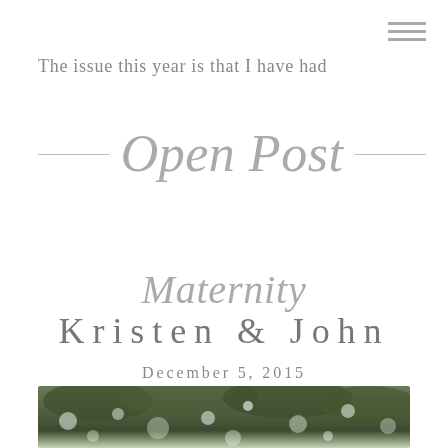The issue this year is that I have had
Open Post
Maternity
Kristen & John
December 5, 2015
[Figure (photo): Outdoor bokeh photo with green foliage and blurred light spots]